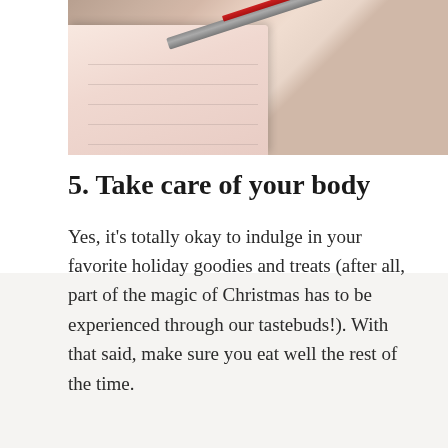[Figure (photo): A notebook and pen resting on a textured woven surface. The notebook is open showing blank pinkish pages, and a silver and red pen rests diagonally across it.]
5. Take care of your body
Yes, it’s totally okay to indulge in your favorite holiday goodies and treats (after all, part of the magic of Christmas has to be experienced through our tastebuds!). With that said, make sure you eat well the rest of the time.